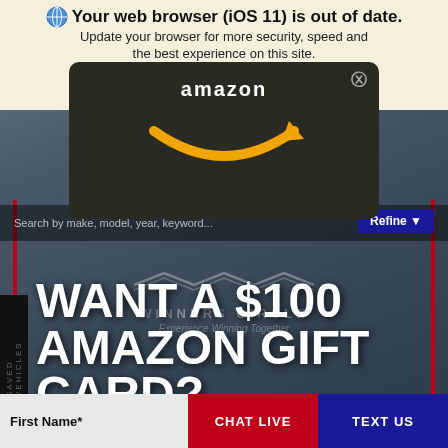Your web browser (iOS 11) is out of date.
Update your browser for more security, speed and the best experience on this site.
[Figure (screenshot): Amazon logo popup card with orange arrow/smile logo on dark background, overlaid on a car dealership website with browser update warning and 'Update browser' / 'Ignore' buttons]
WANT A $100 AMAZON GIFT CARD?
TEST DRIVE YOUR JEEP RENEGADE TODAY!
WINNERS CIRCLE
Experience Winning Together
Connect With Us
First Name*
CHAT LIVE
TEXT US